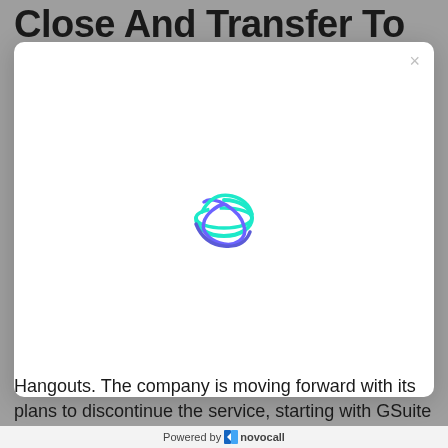Close And Transfer To
[Figure (screenshot): A modal dialog box with a white background and rounded corners, showing a loading spinner (Novocall logo animation) in the center. There is a close button (×) in the top-right corner of the modal.]
Hangouts. The company is moving forward with its plans to discontinue the service, starting with GSuite
Powered by novocall